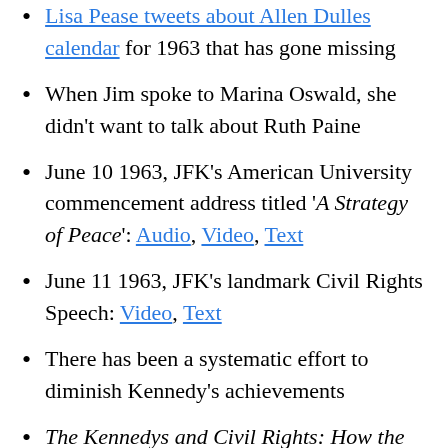Lisa Pease tweets about Allen Dulles calendar for 1963 that has gone missing
When Jim spoke to Marina Oswald, she didn't want to talk about Ruth Paine
June 10 1963, JFK's American University commencement address titled 'A Strategy of Peace': Audio, Video, Text
June 11 1963, JFK's landmark Civil Rights Speech: Video, Text
There has been a systematic effort to diminish Kennedy's achievements
The Kennedys and Civil Rights: How the